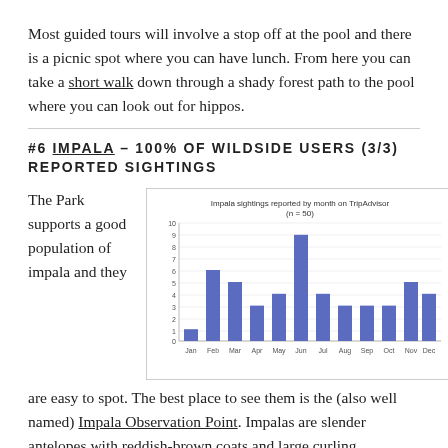Most guided tours will involve a stop off at the pool and there is a picnic spot where you can have lunch. From here you can take a short walk down through a shady forest path to the pool where you can look out for hippos.
#6 IMPALA – 100% OF WILDSIDE USERS (3/3) REPORTED SIGHTINGS
The Park supports a good population of impala and they are easy to spot. The best place to see them is the (also well named) Impala Observation Point. Impalas are slender antelopes with reddish-brown coats and large curling
[Figure (bar-chart): Impala sightings reported by month on TripAdvisor (n = 50)]